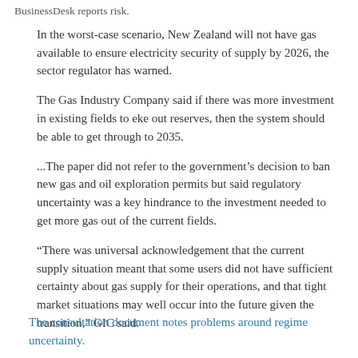BusinessDesk reports risk.
In the worst-case scenario, New Zealand will not have gas available to ensure electricity security of supply by 2026, the sector regulator has warned.
The Gas Industry Company said if there was more investment in existing fields to eke out reserves, then the system should be able to get through to 2035.
...The paper did not refer to the government’s decision to ban new gas and oil exploration permits but said regulatory uncertainty was a key hindrance to the investment needed to get more gas out of the current fields.
“There was universal acknowledgement that the current supply situation meant that some users did not have sufficient certainty about gas supply for their operations, and that tight market situations may well occur into the future given the transition,” GIC said.
The consultation document notes problems around regime uncertainty.